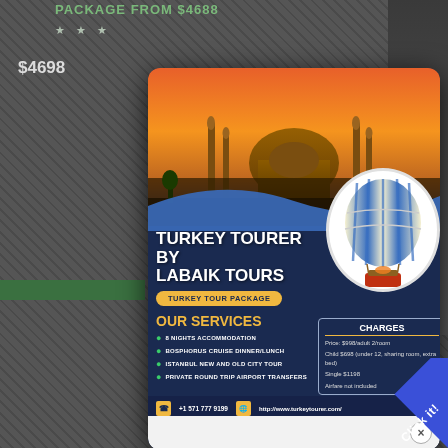PACKAGE FROM $4688
★ ★ ★
$4698
[Figure (infographic): Turkey tour flyer popup with mosque photo background, hot air balloon, title TURKEY TOURER BY LABAIK TOURS, TURKEY TOUR PACKAGE, OUR SERVICES section listing 4 services, CHARGES box with pricing, and contact information]
TURKEY TOURER BY LABAIK TOURS
TURKEY TOUR PACKAGE
OUR SERVICES
8 NIGHTS ACCOMMODATION
BOSPHORUS CRUISE DINNER/LUNCH
ISTANBUL NEW AND OLD CITY TOUR
PRIVATE ROUND TRIP AIRPORT TRANSFERS
| CHARGES |
| --- |
| Price: $998/adult 2/room |
| Child $698 (under 12, sharing room, extra bed) |
| Single $1198 |
| Airfare not included |
+1 571 777 9199
http://www.turkeytourer.com/